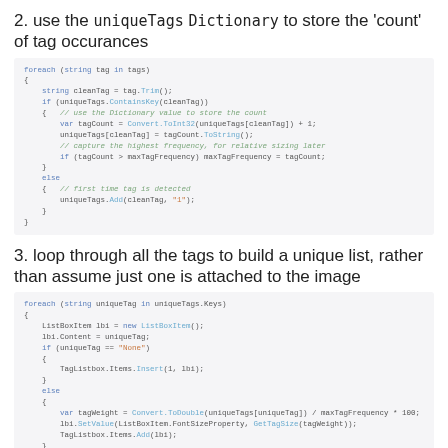2. use the uniqueTags Dictionary to store the 'count' of tag occurances
foreach (string tag in tags)
{
    string cleanTag = tag.Trim();
    if (uniqueTags.ContainsKey(cleanTag))
    {   // use the Dictionary value to store the count
        var tagCount = Convert.ToInt32(uniqueTags[cleanTag]) + 1;
        uniqueTags[cleanTag] = tagCount.ToString();
        // capture the highest frequency, for relative sizing later
        if (tagCount > maxTagFrequency) maxTagFrequency = tagCount;
    }
    else
    {   // first time tag is detected
        uniqueTags.Add(cleanTag, "1");
    }
}
3. loop through all the tags to build a unique list, rather than assume just one is attached to the image
foreach (string uniqueTag in uniqueTags.Keys)
{
    ListBoxItem lbi = new ListBoxItem();
    lbi.Content = uniqueTag;
    if (uniqueTag == "None")
    {
        TagListbox.Items.Insert(1, lbi);
    }
    else
    {
        var tagWeight = Convert.ToDouble(uniqueTags[uniqueTag]) / maxTagFrequency * 100;
        lbi.SetValue(ListBoxItem.FontSizeProperty, GetTagSize(tagWeight));
        TagListbox.Items.Add(lbi);
    }
}